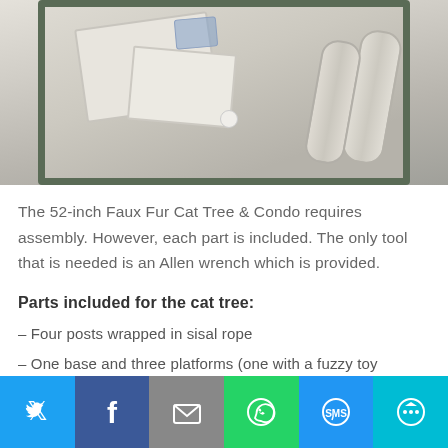[Figure (photo): Photo of cat tree parts laid out on a decorative mat, including foam/carpeted platform pieces and sisal-wrapped posts]
The 52-inch Faux Fur Cat Tree & Condo requires assembly. However, each part is included. The only tool that is needed is an Allen wrench which is provided.
Parts included for the cat tree:
– Four posts wrapped in sisal rope
– One base and three platforms (one with a fuzzy toy attached)
[Figure (infographic): Social sharing bar with icons: Twitter, Facebook, Email, WhatsApp, SMS, More]